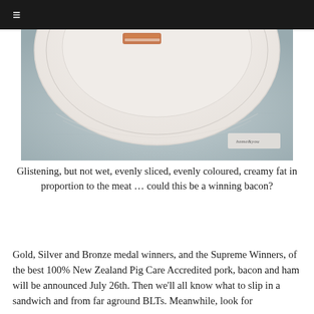≡
[Figure (photo): Close-up photo of a white ceramic plate on a light blue-grey linen tablecloth, with a branded tag reading 'home&you' visible in the lower right area of the image. The plate shows a small piece of food (bacon) on it.]
Glistening, but not wet, evenly sliced, evenly coloured, creamy fat in proportion to the meat … could this be a winning bacon?
Gold, Silver and Bronze medal winners, and the Supreme Winners, of the best 100% New Zealand Pig Care Accredited pork, bacon and ham will be announced July 26th. Then we'll all know what to slip in a sandwich and from far aground BLTs. Meanwhile, look for